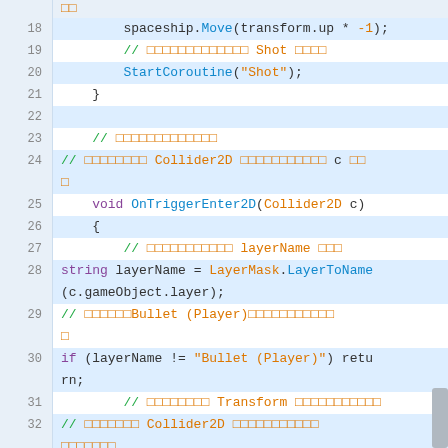[Figure (screenshot): Code editor screenshot showing C# Unity code lines 18-33, with line numbers on the left, syntax highlighting: blue/purple keywords, orange comments/strings, teal method names. Lines show spaceship movement, coroutine, and OnTriggerEnter2D method implementation.]